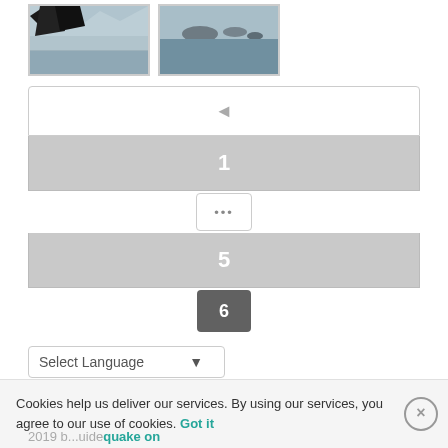[Figure (photo): Two thumbnail photos side by side: left shows dark tree silhouettes against a misty/grey sky, right shows a seascape with rocks/islands in blue-grey water]
[Figure (screenshot): Pagination UI component showing: back arrow button (white), page 1 button (grey), ellipsis button, page 5 button (grey), page 6 button (dark grey, active)]
[Figure (screenshot): Language selector dropdown with 'Select Language' placeholder and chevron, followed by 'Powered by Google Translate' branding]
Bagging It!
Cookies help us deliver our services. By using our services, you agree to our use of cookies. Got it
2019 b... ...uide ...quake on